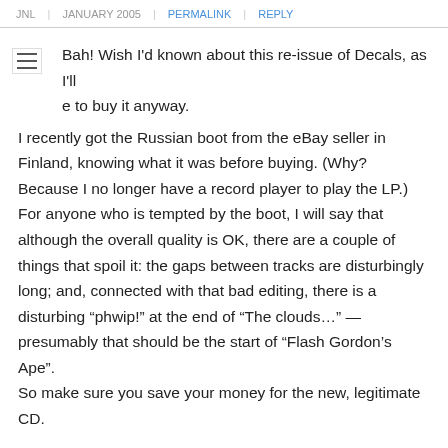JNL | JANUARY 2005 | PERMALINK | REPLY
Bah! Wish I'd known about this re-issue of Decals, as I'll [have] to buy it anyway.
I recently got the Russian boot from the eBay seller in Finland, knowing what it was before buying. (Why? Because I no longer have a record player to play the LP.) For anyone who is tempted by the boot, I will say that although the overall quality is OK, there are a couple of things that spoil it: the gaps between tracks are disturbingly long; and, connected with that bad editing, there is a disturbing “phwip!” at the end of “The clouds…” — presumably that should be the start of “Flash Gordon’s Ape”.
So make sure you save your money for the new, legitimate CD.